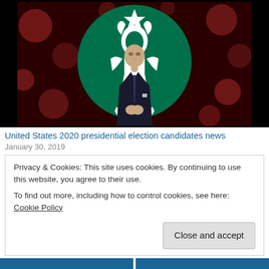[Figure (photo): A man in a dark suit stands in front of a large Starbucks logo (green mermaid on white circle) against a dark red/maroon bokeh background, looking upward with hands clasped]
United States 2020 presidential election candidates news
January 30, 2019
Privacy & Cookies: This site uses cookies. By continuing to use this website, you agree to their use.
To find out more, including how to control cookies, see here: Cookie Policy
Close and accept